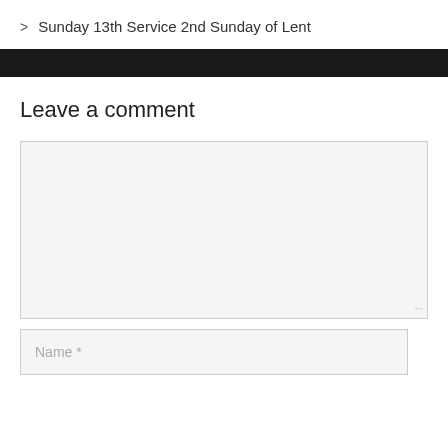> Sunday 13th Service 2nd Sunday of Lent
[Figure (other): Black horizontal navigation bar]
Leave a comment
[Figure (screenshot): Empty comment text area input box]
[Figure (screenshot): Name input field with placeholder text 'Name *']